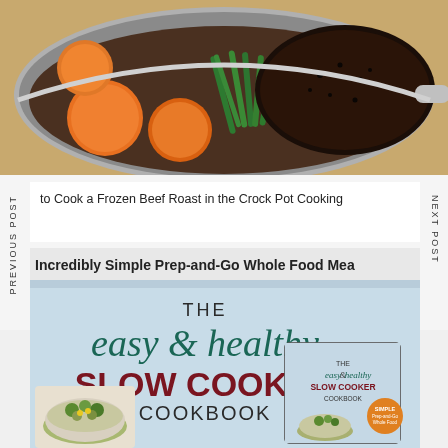[Figure (photo): Food photo showing a pan with sweet potatoes/carrots, green beans, and a dark-seasoned beef roast on a wooden surface]
to Cook a Frozen Beef Roast in the Crock Pot Cooking
PREVIOUS POST
NEXT POST
[Figure (photo): The Easy & Healthy Slow Cooker Cookbook cover showing book title and a bowl of food, with a smaller inset image of the book cover]